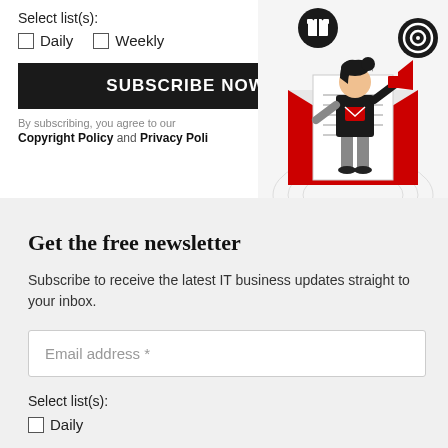Select list(s):
Daily
Weekly
SUBSCRIBE NOW
By subscribing, you agree to our
Copyright Policy and Privacy Poli
[Figure (illustration): Illustration of a person holding a megaphone, standing in front of a large open envelope, with gift box and target icons nearby.]
Get the free newsletter
Subscribe to receive the latest IT business updates straight to your inbox.
Email address *
Select list(s):
Daily